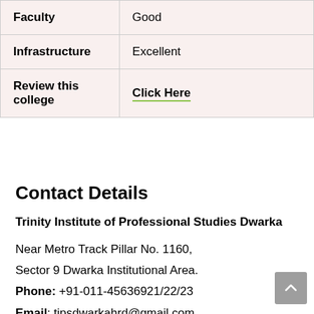| Faculty | Good |
| Infrastructure | Excellent |
| Review this college | Click Here |
Contact Details
Trinity Institute of Professional Studies Dwarka
Near Metro Track Pillar No. 1160, Sector 9 Dwarka Institutional Area.
Phone: +91-011-45636921/22/23
Email: tipsdwarkahrd@gmail.com
Website:https://www.tips.edu.in/